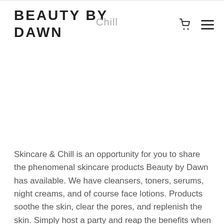BEAUTY BY DAWN
Skincare & Chill is an opportunity for you to share the phenomenal skincare products Beauty by Dawn has available. We have cleansers, toners, serums, night creams, and of course face lotions. Products soothe the skin, clear the pores, and replenish the skin. Simply host a party and reap the benefits when your guests make